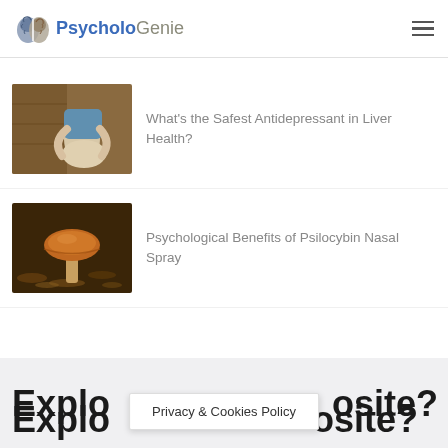PsycholoGenie
[Figure (photo): Thumbnail of a person sitting, warm brown tones]
What's the Safest Antidepressant in Liver Health?
[Figure (photo): Thumbnail of a mushroom with dark earthy background]
Psychological Benefits of Psilocybin Nasal Spray
Explore... osite?
Privacy & Cookies Policy